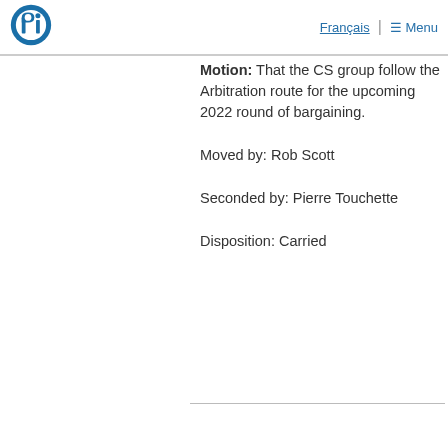[Figure (logo): PIPSC/IPFPC circular logo in blue with stylized 'pi' symbol]
Français | ☰ Menu
Motion: That the CS group follow the Arbitration route for the upcoming 2022 round of bargaining.
Moved by: Rob Scott
Seconded by: Pierre Touchette
Disposition: Carried